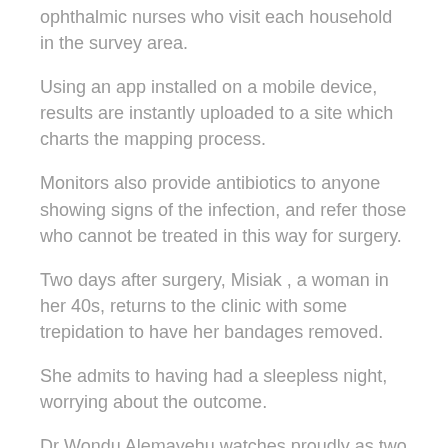ophthalmic nurses who visit each household in the survey area.
Using an app installed on a mobile device, results are instantly uploaded to a site which charts the mapping process.
Monitors also provide antibiotics to anyone showing signs of the infection, and refer those who cannot be treated in this way for surgery.
Two days after surgery, Misiak , a woman in her 40s, returns to the clinic with some trepidation to have her bandages removed.
She admits to having had a sleepless night, worrying about the outcome.
Dr Wondu Alemayehu watches proudly as two members of his surgical team remove Misiak's bandages before applying ointment to both eyes.